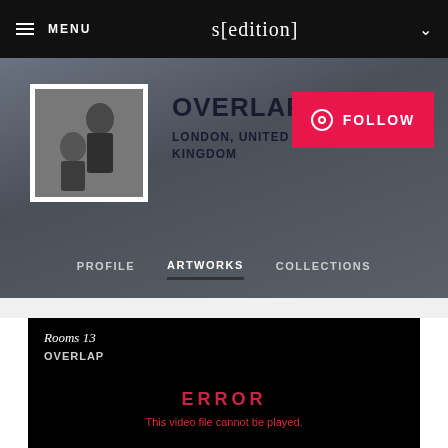MENU   s[edition]
OVERLAP
LONDON, UNITED KINGDOM
FOLLOW
[Figure (photo): Black and white portrait photo of two people, used as artist profile image for Overlap]
PROFILE   ARTWORKS   COLLECTIONS
Rooms 13
OVERLAP
ERROR
This video file cannot be played.